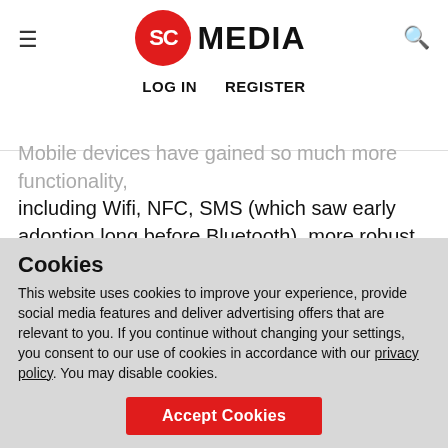SC MEDIA | LOG IN  REGISTER
Mobile devices have gained so much more functionality, including Wifi, NFC, SMS (which saw early adoption long before Bluetooth), more robust operating systems, more storage, smaller form factors, and lower cost. Then of course Apple had to get in the mix, then Google, and now, everyone has a smartphone. The really scary part is that we rely on it for communications so heavily, I mean where would we be without a phone that could TXT, email, Tweet and read your
Cookies
This website uses cookies to improve your experience, provide social media features and deliver advertising offers that are relevant to you. If you continue without changing your settings, you consent to our use of cookies in accordance with our privacy policy. You may disable cookies.